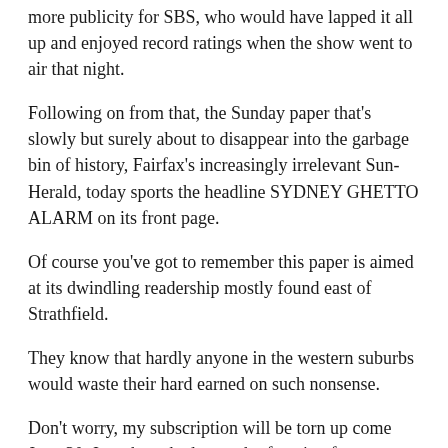more publicity for SBS, who would have lapped it all up and enjoyed record ratings when the show went to air that night.
Following on from that, the Sunday paper that's slowly but surely about to disappear into the garbage bin of history, Fairfax's increasingly irrelevant Sun-Herald, today sports the headline SYDNEY GHETTO ALARM on its front page.
Of course you've got to remember this paper is aimed at its dwindling readership mostly found east of Strathfield.
They know that hardly anyone in the western suburbs would waste their hard earned on such nonsense.
Don't worry, my subscription will be torn up come June 30; I too have had enough of paying for a paper that tells me I'm either a loser or I live in a sea of losers.
These “Sydney’s big divide” stories appear on a regular basis in the Fairfax papers.